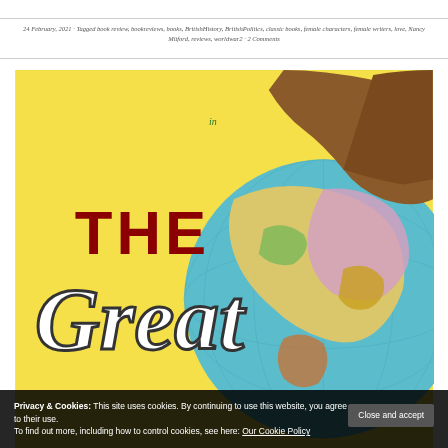24 February, 2021 · Tagged book review, bookreviews, books, BritishHistory, BritishPolitics, classic books, female characters, female writers, love, Nancy Mitford, reviews, worldwar2 · 2 Comments
[Figure (illustration): Vintage movie/book poster with yellow background showing a man in a brown jacket looking over a large globe. Text on poster reads 'THE Great' in bold red and white script letters. A small green 'in' text appears near the top center.]
Privacy & Cookies: This site uses cookies. By continuing to use this website, you agree to their use.
To find out more, including how to control cookies, see here: Our Cookie Policy
Close and accept